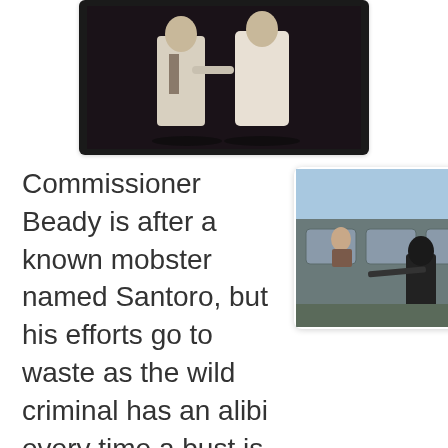[Figure (photo): Two men in light-colored suits standing facing each other in a dark setting, appearing to be from a film scene.]
[Figure (photo): A person in black clothing and mask holding a weapon near a train, appearing to be from a film scene.]
Commissioner Beady is after a known mobster named Santoro, but his efforts go to waste as the wild criminal has an alibi every time a bust is made. Considering the Mob have been trying to keep their operations on the quiet side, Santoro prefers pulling off daring robberies and acts of violence on a large scale even participating in the operations himself. Fearing his aggressive behavior will attract attention to the syndicate,